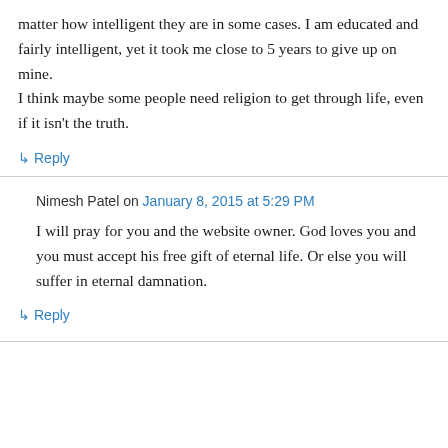matter how intelligent they are in some cases. I am educated and fairly intelligent, yet it took me close to 5 years to give up on mine.
I think maybe some people need religion to get through life, even if it isn't the truth.
↳ Reply
Nimesh Patel on January 8, 2015 at 5:29 PM
I will pray for you and the website owner. God loves you and you must accept his free gift of eternal life. Or else you will suffer in eternal damnation.
↳ Reply